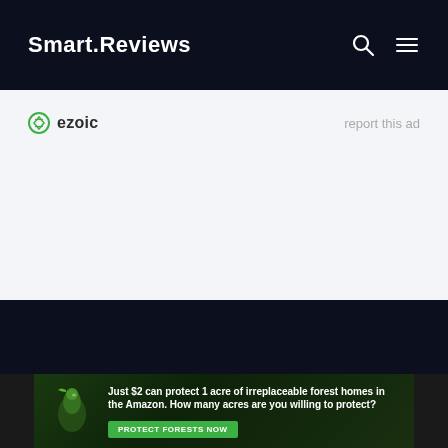Smart.Reviews
[Figure (other): Ezoic ad placeholder with 'ezoic' badge on left and 'report this ad' text on right, on light grey background]
Listen to your
[Figure (other): Amazon forest protection advertisement banner: 'Just $2 can protect 1 acre of irreplaceable forest homes in the Amazon. How many acres are you willing to protect?' with a green 'PROTECT FORESTS NOW' button and a bird image on a forest background]